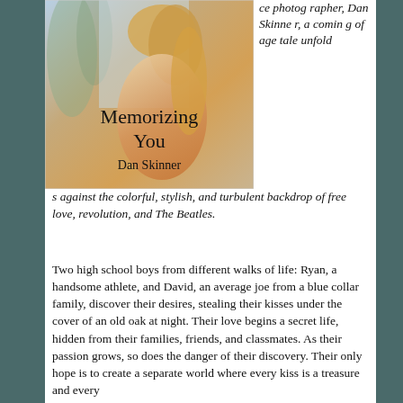[Figure (illustration): Book cover of 'Memorizing You' by Dan Skinner, showing a figure with blond hair against a blurred outdoor background with trees]
ce photographer, Dan Skinner, a coming of age tale unfolds against the colorful, stylish, and turbulent backdrop of free love, revolution, and The Beatles.
Two high school boys from different walks of life: Ryan, a handsome athlete, and David, an average joe from a blue collar family, discover their desires, stealing their kisses under the cover of an old oak at night. Their love begins a secret life, hidden from their families, friends, and classmates. As their passion grows, so does the danger of their discovery. Their only hope is to create a separate world where every kiss is a treasure and every